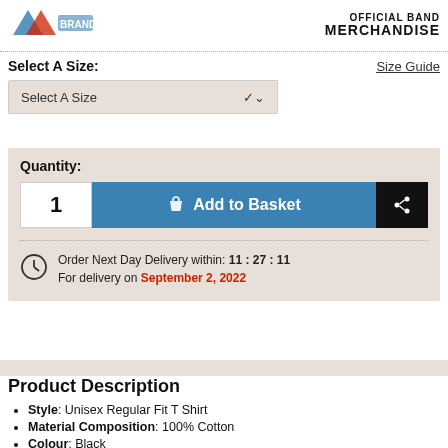[Figure (logo): Brand logo (partially visible, blue/red tones) on top left]
[Figure (logo): OFFICIAL BAND MERCHANDISE text logo on top right]
Select A Size:
Size Guide
Select A Size
Quantity:
1
Add to Basket
Order Next Day Delivery within: 11 : 27 : 11
For delivery on September 2, 2022
Product Description
Style: Unisex Regular Fit T Shirt
Material Composition: 100% Cotton
Colour: Black